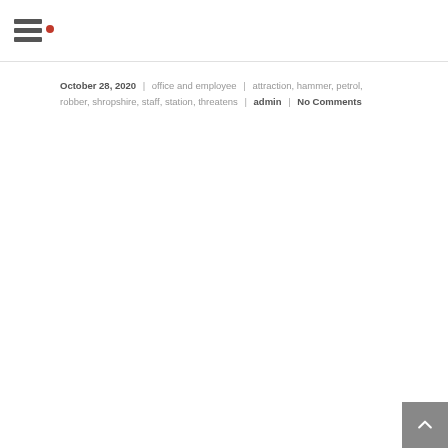Navigation menu icon with logo dot
October 28, 2020 | office and employee | attraction, hammer, petrol, robber, shropshire, staff, station, threatens | admin | No Comments